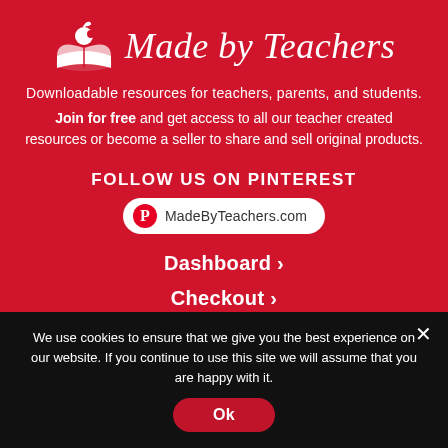[Figure (logo): Made by Teachers logo with white apple on open book icon and italic serif text 'Made by Teachers']
Downloadable resources for teachers, parents, and students. Join for free and get access to all our teacher created resources or become a seller to share and sell original products.
FOLLOW US ON PINTEREST
MadeByTeachers.com
Dashboard ›
Checkout ›
We use cookies to ensure that we give you the best experience on our website. If you continue to use this site we will assume that you are happy with it.
Ok